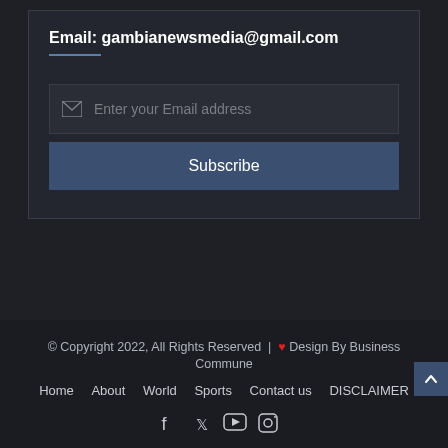Email: gambianewsmedia@gmail.com
[Figure (other): Email input field with envelope icon and placeholder 'Enter your Email address']
Subscribe
© Copyright 2022, All Rights Reserved | ❤ Design By Business Commune
Home  About  World  Sports  Contact us  DISCLAIMER
[Figure (other): Social media icons: Facebook, Twitter, YouTube, Instagram]